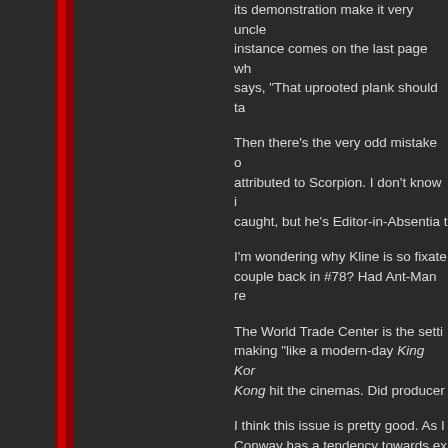its demonstration make it very uncle... instance comes on the last page wh... says, "That uprooted plank should ta...
Then there's the very odd mistake o... attributed to Scorpion. I don't know i... caught, but he's Editor-in-Absentia t...
I'm wondering why Kline is so fixate... couple back in #78? Had Ant-Man re...
The World Trade Center is the setti... making "like a modern-day King Kon... Kong hit the cinemas. Did producer...
I think this issue is pretty good. As I... Conway has a tendency towards ex... manipulator who can take away peo... the Scorpion at the top of the issue,... Daredevil, who was very ineffective...
The anonymous old man who pops... a contrivance. Did people just pop u... Perhaps if they had set that characte... that instead of the Karen Page scen...